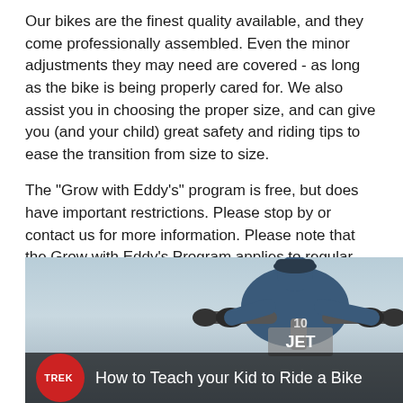Our bikes are the finest quality available, and they come professionally assembled. Even the minor adjustments they may need are covered - as long as the bike is being properly cared for. We also assist you in choosing the proper size, and can give you (and your child) great safety and riding tips to ease the transition from size to size.
The "Grow with Eddy's" program is free, but does have important restrictions. Please stop by or contact us for more information. Please note that the Grow with Eddy's Program applies to regular priced items. Closeout bikes and sale promotions are excluded. Offers cannot be combined.
[Figure (screenshot): Video thumbnail showing a child on a Trek bike, with Trek logo and title 'How to Teach your Kid to Ride a Bike']